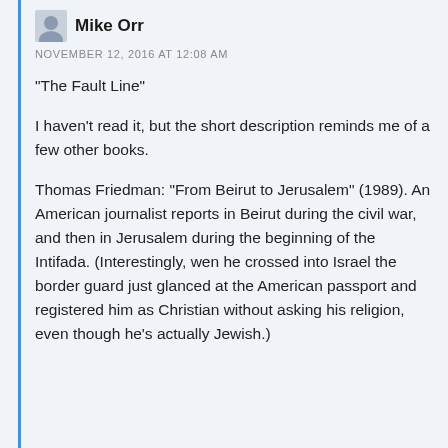Mike Orr
NOVEMBER 12, 2016 AT 12:08 AM
“The Fault Line”
I haven’t read it, but the short description reminds me of a few other books.
Thomas Friedman: “From Beirut to Jerusalem” (1989). An American journalist reports in Beirut during the civil war, and then in Jerusalem during the beginning of the Intifada. (Interestingly, wen he crossed into Israel the border guard just glanced at the American passport and registered him as Christian without asking his religion, even though he’s actually Jewish.)